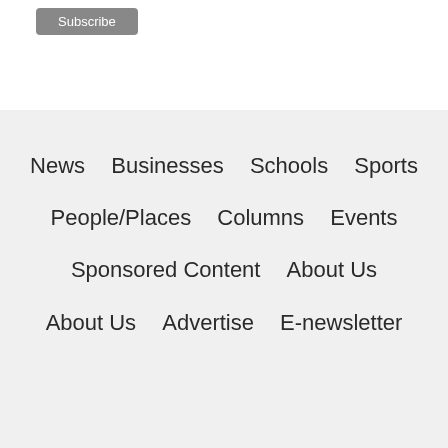[Figure (screenshot): Subscribe button in grey rounded rectangle at top of page]
News  Businesses  Schools  Sports
People/Places  Columns  Events
Sponsored Content  About Us
About Us  Advertise  E-newsletter
[Figure (screenshot): Advertisement banner for Official NFL Gear. Red box showing '60% OFF', headline 'Official NFL Gear', subtext 'Get Your Favorite Team's Gear Here', URL 'www.nflshop.com', with a blue circular arrow button on the right. Close button (X) in grey circle top right, and ad badge (arrow icon) top right.]